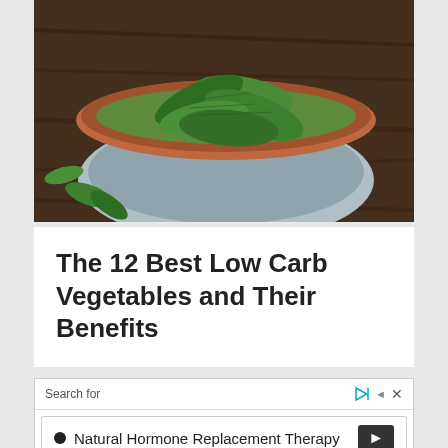[Figure (photo): A bowl of fresh spinach leaves on a wooden table, viewed from above and slightly to the side. The bowl has a terracotta/brown rim and a light blue-gray body. Several spinach leaves are scattered on the wooden table around the bowl.]
The 12 Best Low Carb Vegetables and Their Benefits
[Figure (screenshot): An advertisement widget with 'Search for' text at the top, a play/forward icon and an X close button, and a search result row reading 'Natural Hormone Replacement Therapy' with a bullet point and an arrow button.]